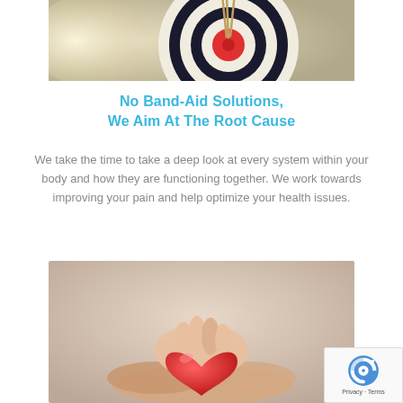[Figure (photo): Photo of an archery target with arrows hitting the bullseye, dramatic lighting]
No Band-Aid Solutions,
We Aim At The Root Cause
We take the time to take a deep look at every system within your body and how they are functioning together. We work towards improving your pain and help optimize your health issues.
[Figure (photo): Photo of two pairs of hands cupping a red heart, warm caring image on a light background]